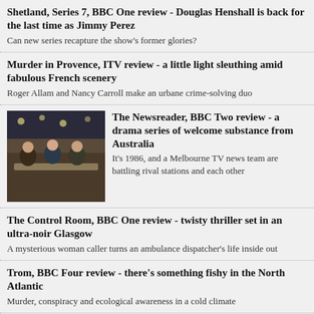Shetland, Series 7, BBC One review - Douglas Henshall is back for the last time as Jimmy Perez
Can new series recapture the show's former glories?
Murder in Provence, ITV review - a little light sleuthing amid fabulous French scenery
Roger Allam and Nancy Carroll make an urbane crime-solving duo
[Figure (photo): Scene from The Newsreader showing people around a table in a TV news studio]
The Newsreader, BBC Two review - a drama series of welcome substance from Australia
It's 1986, and a Melbourne TV news team are battling rival stations and each other
The Control Room, BBC One review - twisty thriller set in an ultra-noir Glasgow
A mysterious woman caller turns an ambulance dispatcher's life inside out
Trom, BBC Four review - there's something fishy in the North Atlantic
Murder, conspiracy and ecological awareness in a cold climate
Freddie Flintoff's Field of Dreams, BBC One review - Lancashire all-rounder adds new strings to his bow
A man on a mission to prove that cricket isn't posh and boring
Mick Jagger: My Life as a Rolling Stone review, BBC Two - the rock'n'roll enigma gives little away as the band reaches 60